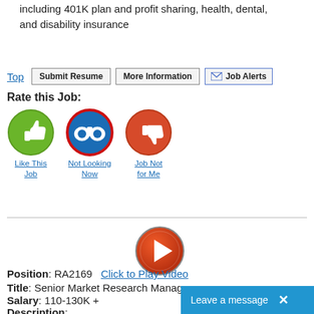including 401K plan and profit sharing, health, dental, and disability insurance
Top | Submit Resume | More Information | Job Alerts
Rate this Job:
[Figure (infographic): Three rating icons: thumbs up (green, Like This Job), binoculars (blue/red border, Not Looking Now), thumbs down (orange/red, Job Not for Me)]
[Figure (infographic): Red circular play button icon for video]
Position: RA2169   Click to Play Video
Title: Senior Market Research Manager
Salary: 110-130K +
Location: IL - Chicago (Remote)
Description:
Leave a message  X